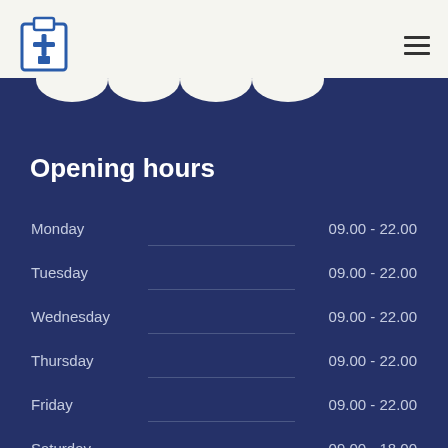[Figure (logo): Medical clipboard icon with cross symbol, blue outline]
Opening hours
| Day |  | Hours |
| --- | --- | --- |
| Monday |  | 09.00 - 22.00 |
| Tuesday |  | 09.00 - 22.00 |
| Wednesday |  | 09.00 - 22.00 |
| Thursday |  | 09.00 - 22.00 |
| Friday |  | 09.00 - 22.00 |
| Saturday |  | 09.00 - 18.00 |